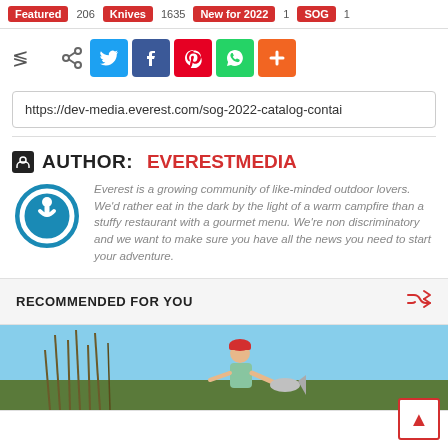Featured 206 | Knives 1635 | New for 2022 1 | SOG 1
[Figure (infographic): Social share bar with share icon, Twitter, Facebook, Pinterest, WhatsApp, and more (+) buttons]
https://dev-media.everest.com/sog-2022-catalog-contai
AUTHOR: EVERESTMEDIA
Everest is a growing community of like-minded outdoor lovers. We'd rather eat in the dark by the light of a warm campfire than a stuffy restaurant with a gourmet menu. We're non discriminatory and we want to make sure you have all the news you need to start your adventure.
RECOMMENDED FOR YOU
[Figure (photo): Person in red hat holding a fish outdoors near tall grass]